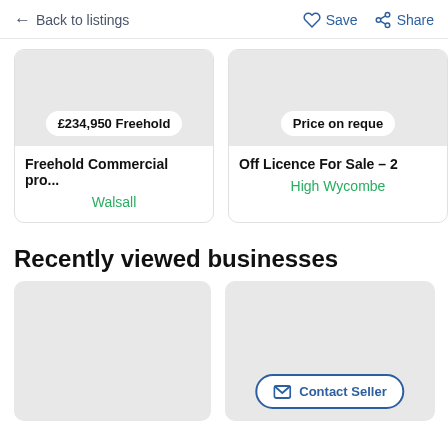← Back to listings   Save   Share
£234,950 Freehold
Freehold Commercial pro...
Walsall
Price on reque...
Off Licence For Sale – 2...
High Wycombe
Recently viewed businesses
[Figure (screenshot): Grey placeholder image for recently viewed business listing (left)]
[Figure (screenshot): Grey placeholder image for recently viewed business listing (right) with Contact Seller button]